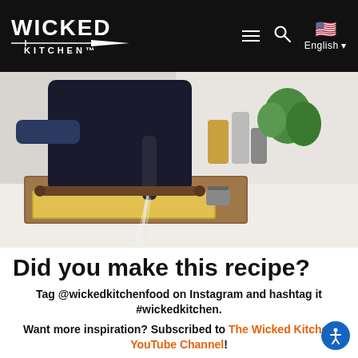Wicked Kitchen — English
[Figure (photo): Person in dark apron seasoning food on a baking tray with a rolling pin on a wooden cutting board, sprinkling salt or flour]
Did you make this recipe?
Tag @wickedkitchenfood on Instagram and hashtag it #wickedkitchen.
Want more inspiration? Subscribed to The Wicked Kitchen YouTube Channel!